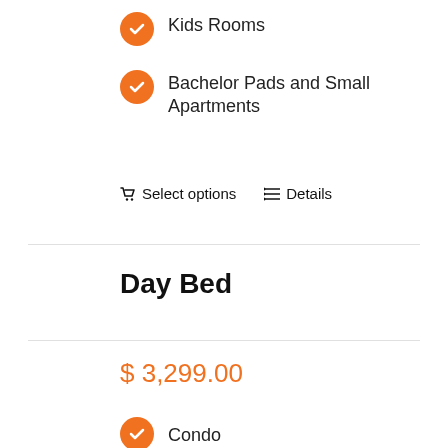Kids Rooms
Bachelor Pads and Small Apartments
Select options   Details
Day Bed
$ 3,299.00
Condo